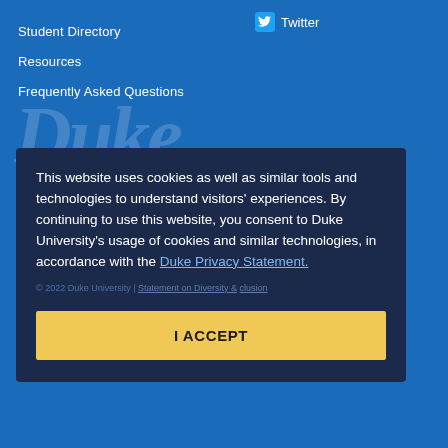Student Directory
Resources
Frequently Asked Questions
Twitter
[Figure (logo): Duke University wordmark in large italic serif font, partially visible, white semi-transparent]
This website uses cookies as well as similar tools and technologies to understand visitors' experiences. By continuing to use this website, you consent to Duke University's usage of cookies and similar technologies, in accordance with the Duke Privacy Statement.
I ACCEPT
© 2022 Duke University | Statement on Diversity & Inclusion